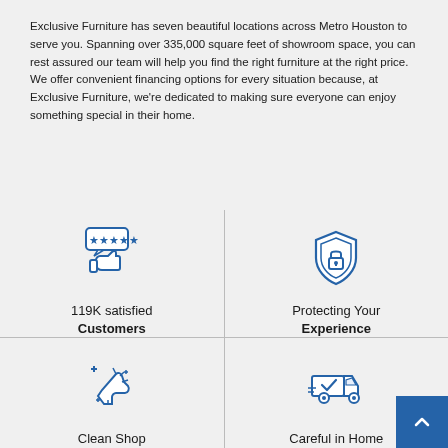Exclusive Furniture has seven beautiful locations across Metro Houston to serve you. Spanning over 335,000 square feet of showroom space, you can rest assured our team will help you find the right furniture at the right price. We offer convenient financing options for every situation because, at Exclusive Furniture, we're dedicated to making sure everyone can enjoy something special in their home.
[Figure (illustration): Thumbs up icon with 5 stars in a speech bubble — 119K satisfied Customers]
[Figure (illustration): Shield with padlock icon — Protecting Your Experience]
[Figure (illustration): Sparkle hand cleaning icon — Clean Shop Promise]
[Figure (illustration): Delivery truck with checkmark icon — Careful in Home Delivery]